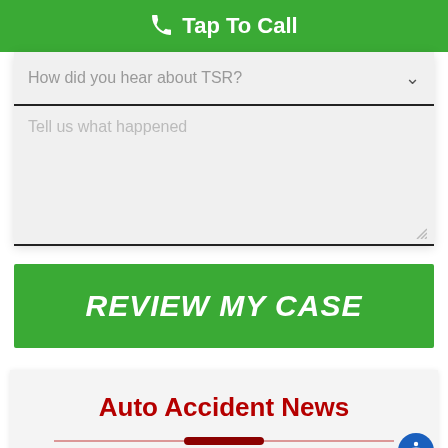Tap To Call
How did you hear about TSR?
Tell us what happened
REVIEW MY CASE
Auto Accident News